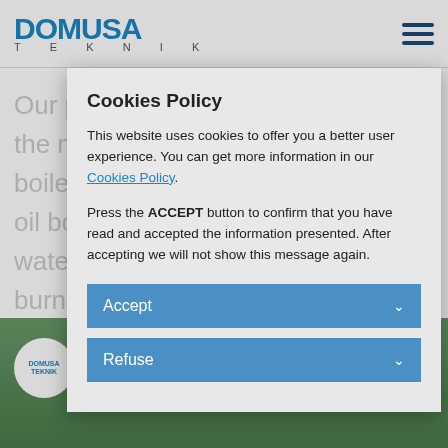[Figure (logo): DOMUSA Teknik logo in blue with hamburger menu icon]
Our production activity is focused on the manufacturing of … boilers … el oil bo… wate… burne…
Cookies Policy
This website uses cookies to offer you a better user experience. You can get more information in our Cookies Policy.
Press the ACCEPT button to confirm that you have read and accepted the information presented. After accepting we will not show this message again.
Accept
Refuse